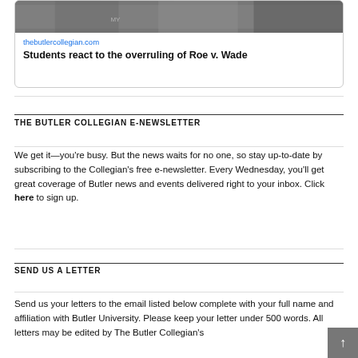[Figure (photo): Protest photo showing people holding signs related to Roe v. Wade overruling]
thebutlercollegian.com
Students react to the overruling of Roe v. Wade
THE BUTLER COLLEGIAN E-NEWSLETTER
We get it—you're busy. But the news waits for no one, so stay up-to-date by subscribing to the Collegian's free e-newsletter. Every Wednesday, you'll get great coverage of Butler news and events delivered right to your inbox. Click here to sign up.
SEND US A LETTER
Send us your letters to the email listed below complete with your full name and affiliation with Butler University. Please keep your letter under 500 words. All letters may be edited by The Butler Collegian's editorial staff for style and accuracy, per policy. Butler...